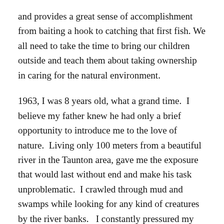and provides a great sense of accomplishment from baiting a hook to catching that first fish. We all need to take the time to bring our children outside and teach them about taking ownership in caring for the natural environment.
1963, I was 8 years old, what a grand time.  I believe my father knew he had only a brief opportunity to introduce me to the love of nature.  Living only 100 meters from a beautiful river in the Taunton area, gave me the exposure that would last without end and make his task unproblematic.  I crawled through mud and swamps while looking for any kind of creatures by the river banks.   I constantly pressured my dad to take me fishing, spring, summer or fall. He would  provide me a time that would commence the adventure. I stayed in a chair and relentlessly glanced at the clock on the wall and when the hands were just right on the face, I was at the door ,